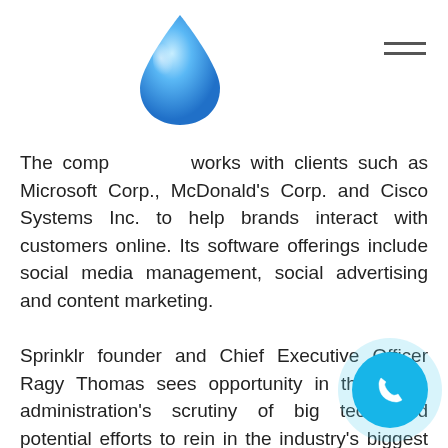The company works with clients such as Microsoft Corp., McDonald’s Corp. and Cisco Systems Inc. to help brands interact with customers online. Its software offerings include social media management, social advertising and content marketing.
Sprinklr founder and Chief Executive Officer Ragy Thomas sees opportunity in the Biden administration’s scrutiny of big tech and potential efforts to rein in the industry’s biggest players.
Platform Interface
“What we are building our platform for is the interface to any number of channels that you may